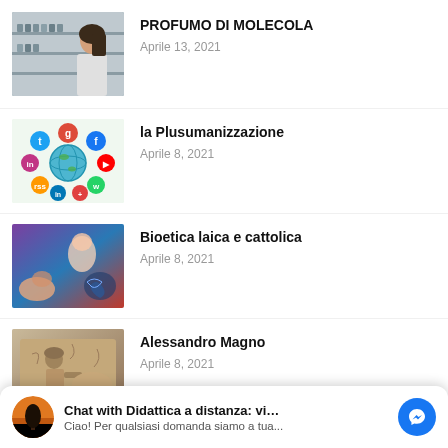[Figure (photo): Woman working at a lab or pharmacy shelf with many small bottles/vials]
PROFUMO DI MOLECOLA
Aprile 13, 2021
[Figure (illustration): Social media icons surrounding a globe - connectivity/social network concept]
la Plusumanizzazione
Aprile 8, 2021
[Figure (photo): Collage of bioethics imagery: hands, baby, brain scan]
Bioetica laica e cattolica
Aprile 8, 2021
[Figure (photo): Ancient statue or fresco depicting Alexander the Great]
Alessandro Magno
Aprile 8, 2021
Chat with Didattica a distanza: vide...
Ciao! Per qualsiasi domanda siamo a tua...
Aprile 8, 2021